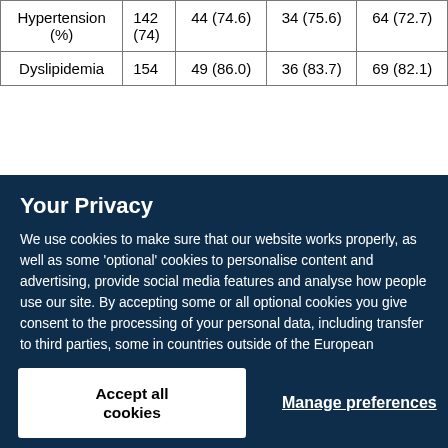|  |  |  |  |  |
| --- | --- | --- | --- | --- |
| Hypertension (%) | 142 (74) | 44 (74.6) | 34 (75.6) | 64 (72.7) |
| Dyslipidemia | 154 | 49 (86.0) | 36 (83.7) | 69 (82.1) |
Your Privacy
We use cookies to make sure that our website works properly, as well as some 'optional' cookies to personalise content and advertising, provide social media features and analyse how people use our site. By accepting some or all optional cookies you give consent to the processing of your personal data, including transfer to third parties, some in countries outside of the European Economic Area that do not offer the same data protection standards as the country where you live. You can decide which optional cookies to accept by clicking on 'Manage Settings', where you can also find more information about how your personal data is processed. Further information can be found in our privacy policy.
Accept all cookies
Manage preferences